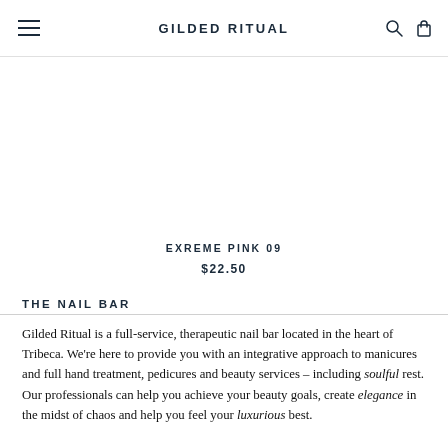GILDED RITUAL
EXREME PINK 09
$22.50
THE NAIL BAR
Gilded Ritual is a full-service, therapeutic nail bar located in the heart of Tribeca. We're here to provide you with an integrative approach to manicures and full hand treatment, pedicures and beauty services – including soulful rest. Our professionals can help you achieve your beauty goals, create elegance in the midst of chaos and help you feel your luxurious best.